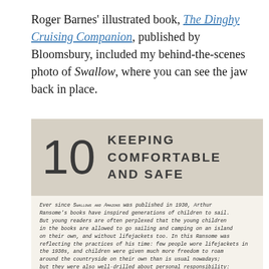Roger Barnes' illustrated book, The Dinghy Cruising Companion, published by Bloomsbury, included my behind-the-scenes photo of Swallow, where you can see the jaw back in place.
[Figure (photo): A photograph of a book page showing chapter 10 titled 'KEEPING COMFORTABLE AND SAFE' with a large numeral '10' on the left, and below it handwritten-style text beginning 'Ever since Swallows and Amazons was published in 1930, Arthur Ransome's books have inspired generations of children to sail...']